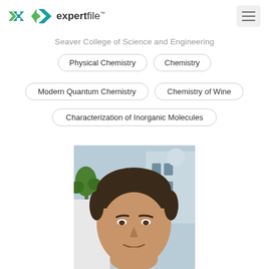[Figure (logo): Expertfile logo with green/blue X icon and text 'expertfile™']
Seaver College of Science and Engineering
Physical Chemistry
Chemistry
Modern Quantum Chemistry
Chemistry of Wine
Characterization of Inorganic Molecules
[Figure (photo): Headshot of a middle-aged man with dark hair, smiling, outdoors in front of a building with palm trees]